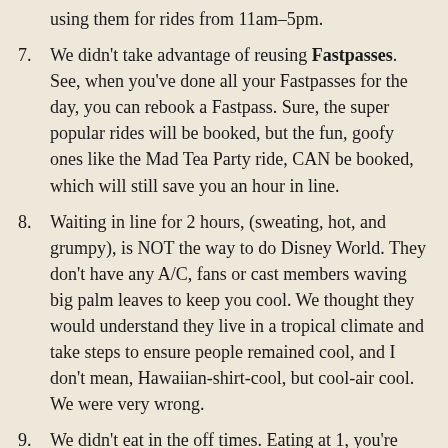7. We didn't take advantage of reusing Fastpasses. See, when you've done all your Fastpasses for the day, you can rebook a Fastpass. Sure, the super popular rides will be booked, but the fun, goofy ones like the Mad Tea Party ride, CAN be booked, which will still save you an hour in line.
8. Waiting in line for 2 hours, (sweating, hot, and grumpy), is NOT the way to do Disney World. They don't have any A/C, fans or cast members waving big palm leaves to keep you cool. We thought they would understand they live in a tropical climate and take steps to ensure people remained cool, and I don't mean, Hawaiian-shirt-cool, but cool-air cool. We were very wrong.
9. We didn't eat in the off times. Eating at 1, you're eating with a billion other people in the park. Eating lunch at 10:30, you basically have the choice of seats and no one sitting beside you with a parent asking themselves, why did I do this, why did I do this?